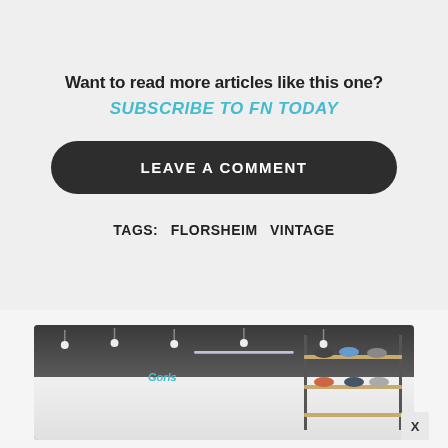Want to read more articles like this one?
SUBSCRIBE TO FN TODAY
LEAVE A COMMENT
TAGS:  FLORSHEIM  VINTAGE
[Figure (photo): Interior of a sneaker/shoe retail store with track lighting on a dark ceiling, white display shelves with shoes, a neon sign, and a close (X) button overlay in the bottom right corner]